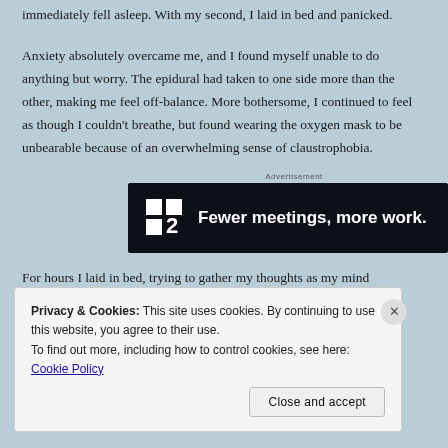immediately fell asleep. With my second, I laid in bed and panicked.
Anxiety absolutely overcame me, and I found myself unable to do anything but worry. The epidural had taken to one side more than the other, making me feel off-balance. More bothersome, I continued to feel as though I couldn't breathe, but found wearing the oxygen mask to be unbearable because of an overwhelming sense of claustrophobia.
[Figure (other): Advertisement banner for Basecamp P2 with dark background and text: Fewer meetings, more work.]
For hours I laid in bed, trying to gather my thoughts as my mind
Privacy & Cookies: This site uses cookies. By continuing to use this website, you agree to their use.
To find out more, including how to control cookies, see here: Cookie Policy
Close and accept